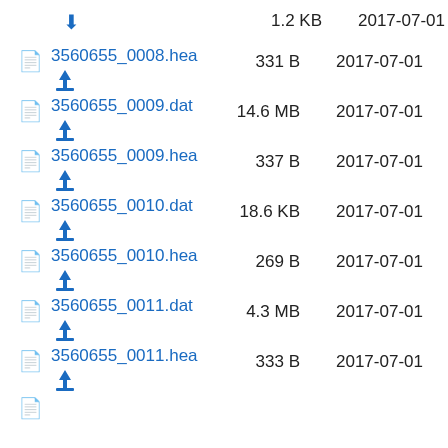1.2 KB  2017-07-01 (download row, partial at top)
3560655_0008.hea  331 B  2017-07-01
3560655_0009.dat  14.6 MB  2017-07-01
3560655_0009.hea  337 B  2017-07-01
3560655_0010.dat  18.6 KB  2017-07-01
3560655_0010.hea  269 B  2017-07-01
3560655_0011.dat  4.3 MB  2017-07-01
3560655_0011.hea  333 B  2017-07-01